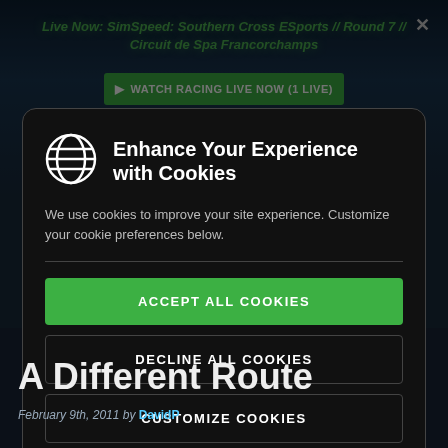Live Now: SimSpeed: Southern Cross ESports // Round 7 // Circuit de Spa Francorchamps
▶ WATCH RACING LIVE NOW (1 LIVE)
Enhance Your Experience with Cookies
We use cookies to improve your site experience. Customize your cookie preferences below.
ACCEPT ALL COOKIES
DECLINE ALL COOKIES
CUSTOMIZE COOKIES
A Different Route
February 9th, 2011 by DavidP